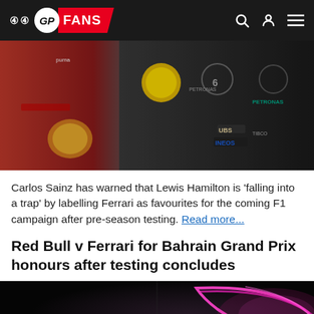GP FANS
[Figure (photo): Ferrari and Mercedes F1 drivers standing together, Ferrari red suit with Shell sponsor visible on left, Mercedes dark suit with INEOS, PETRONAS, UBS logos visible on right]
Carlos Sainz has warned that Lewis Hamilton is 'falling into a trap' by labelling Ferrari as favourites for the coming F1 campaign after pre-season testing. Read more...
Red Bull v Ferrari for Bahrain Grand Prix honours after testing concludes
[Figure (photo): Dark background with pink/magenta glowing halo element visible on right side, appears to be an F1 car in low light]